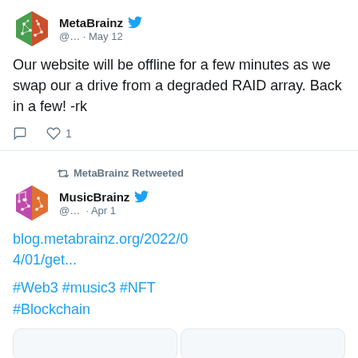[Figure (logo): MetaBrainz hexagon logo, green and orange]
MetaBrainz @… · May 12
Our website will be offline for a few minutes as we swap our a drive from a degraded RAID array. Back in a few! -rk
♡ 1
MetaBrainz Retweeted
[Figure (logo): MusicBrainz hexagon logo, purple and orange]
MusicBrainz @… · Apr 1
blog.metabrainz.org/2022/04/01/get...
#Web3 #music3 #NFT #Blockchain